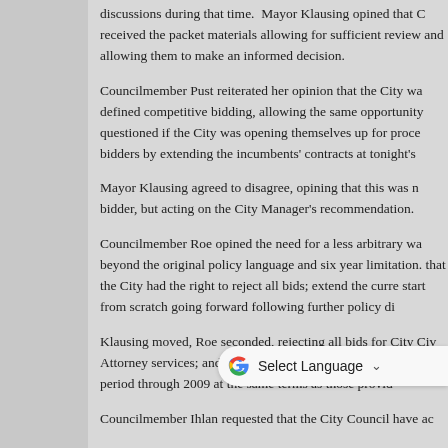discussions during that time.  Mayor Klausing opined that C received the packet materials allowing for sufficient review and allowing them to make an informed decision.
Councilmember Pust reiterated her opinion that the City wa defined competitive bidding, allowing the same opportunity questioned if the City was opening themselves up for proce bidders by extending the incumbents' contracts at tonight's
Mayor Klausing agreed to disagree, opining that this was n bidder, but acting on the City Manager's recommendation.
Councilmember Roe opined the need for a less arbitrary wa beyond the original policy language and six year limitation. that the City had the right to reject all bids; extend the curr start from scratch going forward following further policy di
Klausing moved, Roe seconded, rejecting all bids for City Ci Attorney services; and extension of current incumbent serv year period through 2009 at the same terms as those provid
Councilmember Ihlan requested that the City Council have ac provide int ductions reviewing that this would be t